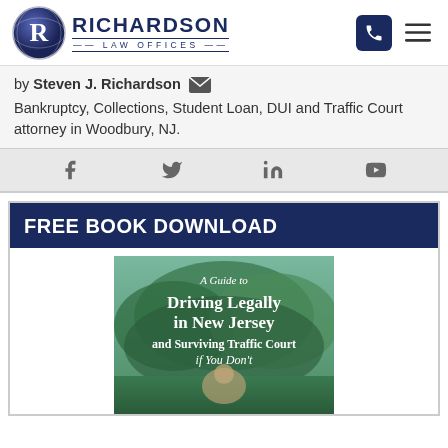Richardson Law Offices
by Steven J. Richardson — Bankruptcy, Collections, Student Loan, DUI and Traffic Court attorney in Woodbury, NJ.
[Figure (infographic): Social media icons: Facebook, Twitter, LinkedIn, YouTube]
FREE BOOK DOWNLOAD
[Figure (photo): Book cover: A Guide to Driving Legally in New Jersey and Surviving Traffic Court if You Don't]